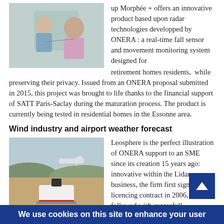[Figure (photo): A nurse or caregiver in blue medical attire speaking with an elderly woman, used to illustrate retirement home context for Morphée+ product.]
up Morphée + offers an innovative product based upon radar technologies developped by ONERA : a real-time fall sensor and movement monitoring system designed for retirement homes residents,  while preserving their privacy. Issued from an ONERA proposal submitted in 2015, this project was brought to life thanks to the financial support of SATT Paris-Saclay during the maturation process. The product is currently being tested in residential homes in the Essonne area.
Wind industry and airport weather forecast
[Figure (photo): A Lidar instrument device in the foreground on dry terrain with a commercial airplane and hills in the background, illustrating Leosphere's wind/airport weather forecast equipment.]
Leosphere is the perfect illustration of ONERA support to an SME since its creation 15 years ago:  innovative within the Lidar business, the firm first signed a licencing contract in 2006, followed with succesfull deals in the wind industry (2007) and airport weather forecast
We use cookies on this site to enhance your user